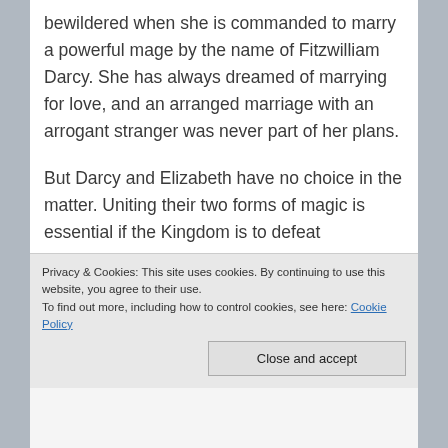bewildered when she is commanded to marry a powerful mage by the name of Fitzwilliam Darcy. She has always dreamed of marrying for love, and an arranged marriage with an arrogant stranger was never part of her plans.
But Darcy and Elizabeth have no choice in the matter. Uniting their two forms of magic is essential if the Kingdom is to defeat Napoleon's mages. They may dislike each other on sight, but Darcy and Elizabeth have to overcome their differences and find common ground before it is too late. Fortunately, it is not long before the sparks begin to fly between them.
Privacy & Cookies: This site uses cookies. By continuing to use this website, you agree to their use.
To find out more, including how to control cookies, see here: Cookie Policy
Close and accept